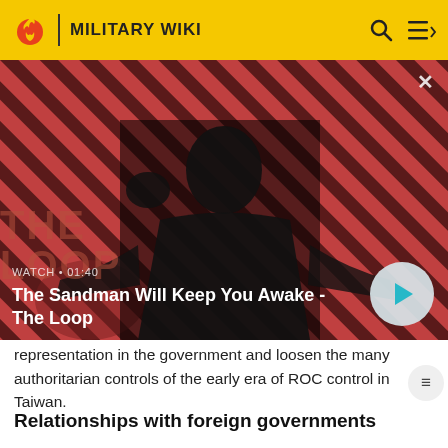MILITARY WIKI
[Figure (screenshot): Video thumbnail showing a dark-cloaked figure with a raven on their shoulder against a diagonal red and dark stripe background. Text overlay reads 'WATCH • 01:40' and title 'The Sandman Will Keep You Awake - The Loop' with a play button.]
representation in the government and loosen the many authoritarian controls of the early era of ROC control in Taiwan.
Relationships with foreign governments